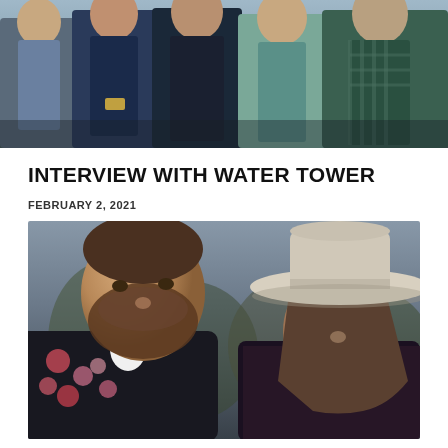[Figure (photo): Top banner photo showing a group of band members (approximately 5 people) wearing casual country/western attire including denim jackets, flannel shirts, and western shirts, photographed from waist up against an outdoor background.]
INTERVIEW WITH WATER TOWER
FEBRUARY 2, 2021
[Figure (photo): Portrait photo of two people: a bearded man on the left wearing a floral jacket, looking slightly upward; and a woman on the right wearing a wide-brim white/cream hat and dark lace top, both photographed against an outdoor blurred background with trees and cloudy sky.]